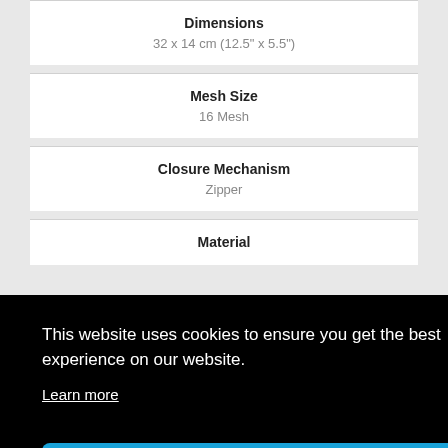| Attribute | Value |
| --- | --- |
| Dimensions | 32 x 14 cm (12.5" x 5.5") |
| Mesh Size | 16 Mesh |
| Closure Mechanism | Zipper |
| Material |  |
| Media Compatibility |  |
This website uses cookies to ensure you get the best experience on our website.
Learn more
Got it!